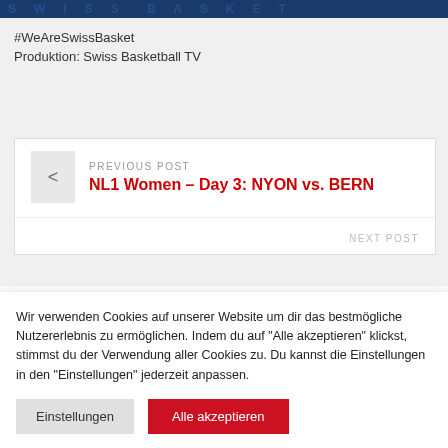[Figure (screenshot): Top banner with Swiss Basketball logo/text in dark blue]
#WeAreSwissBasket
Produktion: Swiss Basketball TV
PREVIOUS POST
NL1 Women – Day 3: NYON vs. BERN
NEXT POST
Wir verwenden Cookies auf unserer Website um dir das bestmögliche Nutzererlebnis zu ermöglichen. Indem du auf "Alle akzeptieren" klickst, stimmst du der Verwendung aller Cookies zu. Du kannst die Einstellungen in den "Einstellungen" jederzeit anpassen.
Einstellungen
Alle akzeptieren